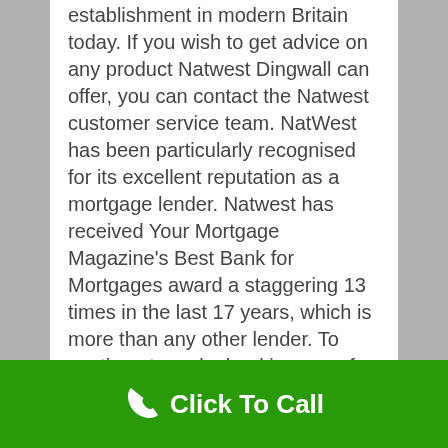establishment in modern Britain today. If you wish to get advice on any product Natwest Dingwall can offer, you can contact the Natwest customer service team. NatWest has been particularly recognised for its excellent reputation as a mortgage lender. Natwest has received Your Mortgage Magazine's Best Bank for Mortgages award a staggering 13 times in the last 17 years, which is more than any other lender. To continue to make banking easy for their customers they operate an online banking site, a smartphone banking app and a 24-hour customer service line. If you wish to have a no obligation discussion with NatWest
Click To Call